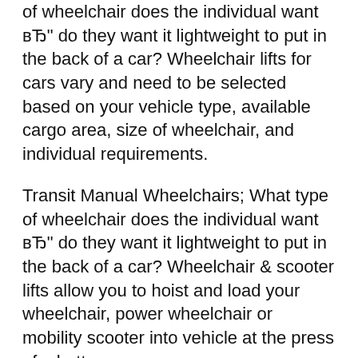of wheelchair does the individual want вЂ" do they want it lightweight to put in the back of a car? Wheelchair lifts for cars vary and need to be selected based on your vehicle type, available cargo area, size of wheelchair, and individual requirements.
Transit Manual Wheelchairs; What type of wheelchair does the individual want вЂ" do they want it lightweight to put in the back of a car? Wheelchair & scooter lifts allow you to hoist and load your wheelchair, power wheelchair or mobility scooter into vehicle at the press of a button.
Vehicle Lifts & Ramps SMARTech Home.